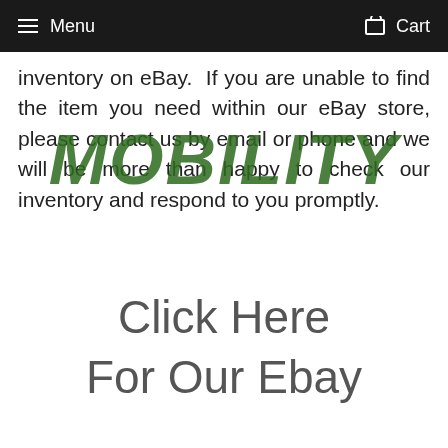Menu  Cart
inventory on eBay.  If you are unable to find the item you need within our eBay store, please contact us by email or phone and we will be more than happy to check our inventory and respond to you promptly.
[Figure (illustration): Watermark text reading MOBILITY in large dark green bold italic letters overlaid on the body text]
Click Here
For Our Ebay